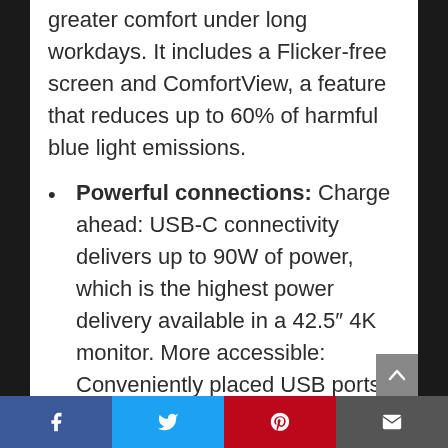greater comfort under long workdays. It includes a Flicker-free screen and ComfortView, a feature that reduces up to 60% of harmful blue light emissions.
Powerful connections: Charge ahead: USB-C connectivity delivers up to 90W of power, which is the highest power delivery available in a 42.5″ 4K monitor. More accessible: Conveniently placed USB ports are located at the side of the monitor for quick connectivity. Collaboration made easy: HDMI-CEC
Facebook | Twitter | Pinterest | Email